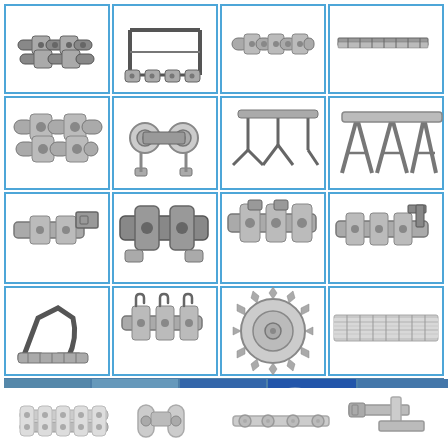[Figure (illustration): Product catalog page showing various industrial roller chains, conveyor chains, chain attachments, sprockets, and related mechanical components. Top section: 4x4 grid of individual product photos on white background with blue borders showing chain links, double-pitch chains, attachment chains, and specialty conveyor chains. Middle section: photo collage strip on blue background showing various chain types and sprockets in use. Bottom section: white background photos of chain assemblies and attachment plates.]